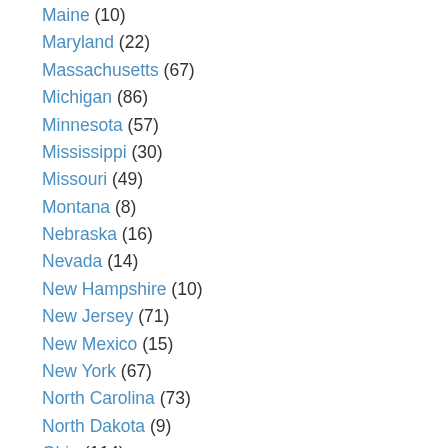Maine (10)
Maryland (22)
Massachusetts (67)
Michigan (86)
Minnesota (57)
Mississippi (30)
Missouri (49)
Montana (8)
Nebraska (16)
Nevada (14)
New Hampshire (10)
New Jersey (71)
New Mexico (15)
New York (67)
North Carolina (73)
North Dakota (9)
Ohio (114)
Oklahoma (38)
Oregon (40)
Pennsylvania (39)
Rhode Island (14)
South Carolina (28)